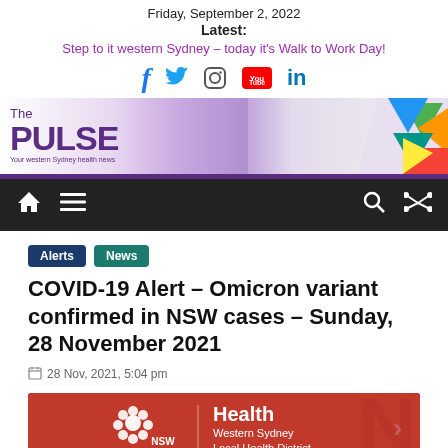Friday, September 2, 2022
Latest:
Step to it western Sydney – today it's Walk to Work Day!
[Figure (infographic): Social media icons: Facebook, Twitter, Instagram, YouTube, LinkedIn]
[Figure (logo): The Pulse – Your western Sydney health news banner logo with colorful geometric shapes on right]
[Figure (infographic): Navigation bar with home icon, hamburger menu, search icon, and shuffle icon on dark background]
Alerts  News
COVID-19 Alert – Omicron variant confirmed in NSW cases – Sunday, 28 November 2021
28 Nov, 2021, 5:04 pm
[Figure (logo): NSW Government Health – Western Sydney Local Health District logo on red background]